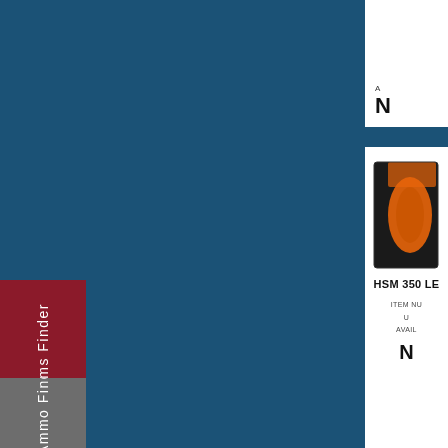[Figure (screenshot): Website screenshot showing a firearms/ammo finder page with a dark blue background. Left side has a red sidebar tab labeled 'Firearms Finder' and a gray sidebar tab labeled 'Ammo Fin...' (cut off). Right side shows two white product cards: the top card is partially cut off showing price/availability text, and the bottom card shows an HSM 350 LE product with an orange/black box image, item number, UPC, availability, and price fields.]
Firearms Finder
Ammo Fin
HSM 350 LE
ITEM NU
U
AVAIL
N